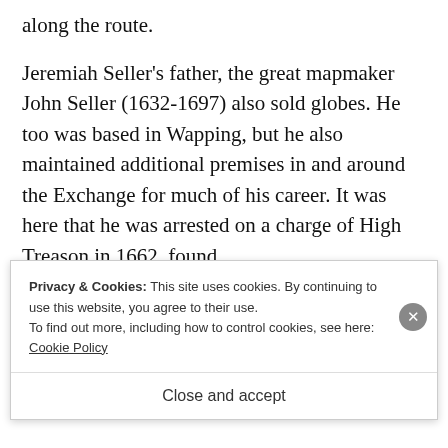along the route.
Jeremiah Seller's father, the great mapmaker John Seller (1632-1697) also sold globes. He too was based in Wapping, but he also maintained additional premises in and around the Exchange for much of his career. It was here that he was arrested on a charge of High Treason in 1662, found
Privacy & Cookies: This site uses cookies. By continuing to use this website, you agree to their use.
To find out more, including how to control cookies, see here:
Cookie Policy
Close and accept